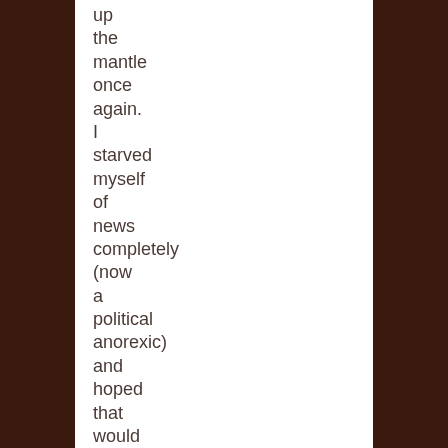up the mantle once again. I starved myself of news completely (now a political anorexic) and hoped that would do the trick.